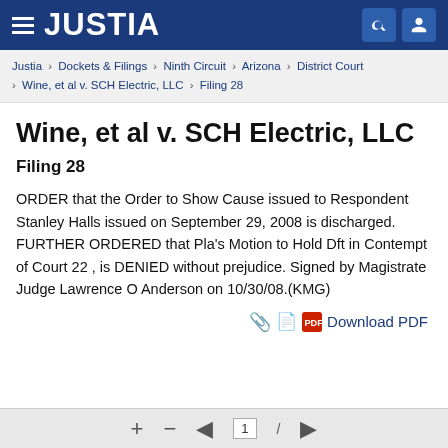JUSTIA
Justia › Dockets & Filings › Ninth Circuit › Arizona › District Court › Wine, et al v. SCH Electric, LLC › Filing 28
Wine, et al v. SCH Electric, LLC
Filing 28
ORDER that the Order to Show Cause issued to Respondent Stanley Halls issued on September 29, 2008 is discharged. FURTHER ORDERED that Pla's Motion to Hold Dft in Contempt of Court 22 , is DENIED without prejudice. Signed by Magistrate Judge Lawrence O Anderson on 10/30/08.(KMG)
Download PDF